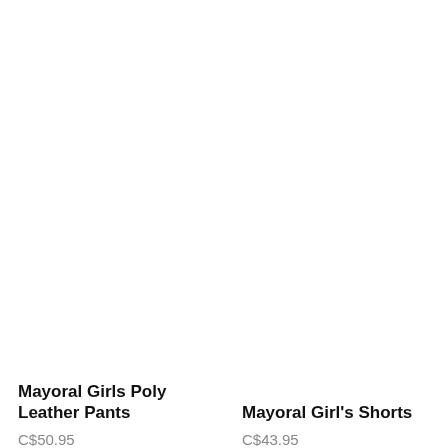[Figure (photo): Product image area for Mayoral Girls Poly Leather Pants (blank/white)]
Mayoral Girls Poly Leather Pants
C$50.95
[Figure (photo): Product image area for Mayoral Girl's Shorts (blank/white)]
Mayoral Girl's Shorts
C$43.95